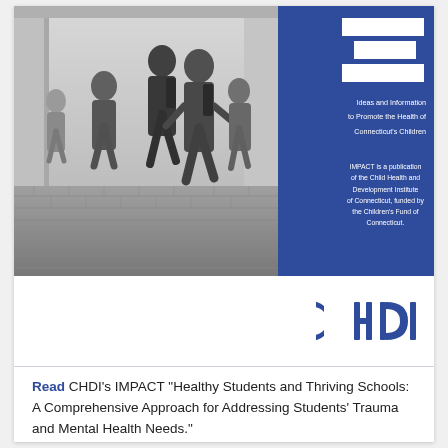[Figure (photo): Black and white photo of several children running happily, carrying backpacks, on a brick walkway outside a school building.]
[Figure (logo): IMPACT logo — three horizontal white bars on a dark blue background forming stylized 'IM' letters, with tagline 'Ideas and Information to Promote the Health of Connecticut's Children' and publication credit 'IMPACT is a publication of the Child Health and Development Institute of Connecticut, funded by the Children's Fund of Connecticut.']
[Figure (logo): CHDI logo — stylized letters C, H, D, I in dark blue.]
Read CHDI's IMPACT "Healthy Students and Thriving Schools: A Comprehensive Approach for Addressing Students' Trauma and Mental Health Needs."